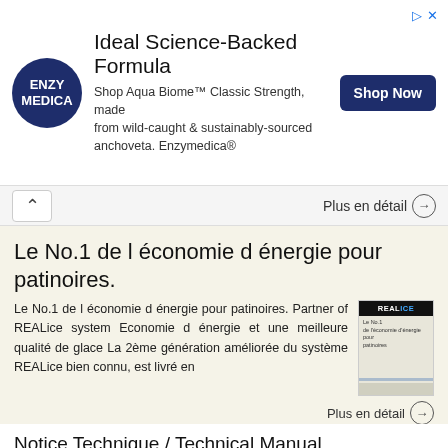[Figure (other): Enzymedica advertisement banner with logo, text about Aqua Biome supplement, and Shop Now button]
Plus en détail →
Le No.1 de l économie d énergie pour patinoires.
Le No.1 de l économie d énergie pour patinoires. Partner of REALice system Economie d énergie et une meilleure qualité de glace La 2ème génération améliorée du système REALice bien connu, est livré en
Plus en détail →
Notice Technique / Technical Manual
Contrôle d accès Access control Encodeur USB Mifare ENCOD-USB-AI Notice